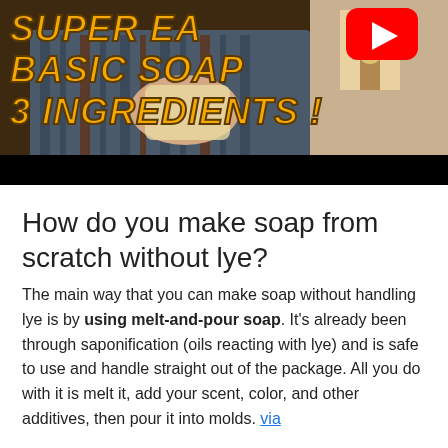[Figure (screenshot): YouTube video thumbnail showing a person holding soap with text 'Super Easy Basic Soap 3 Ingredients!' in bold orange letters with dark outline, YouTube play button visible in top right]
How do you make soap from scratch without lye?
The main way that you can make soap without handling lye is by using melt-and-pour soap. It's already been through saponification (oils reacting with lye) and is safe to use and handle straight out of the package. All you do with it is melt it, add your scent, color, and other additives, then pour it into molds. via
Can I spray my plants with soapy